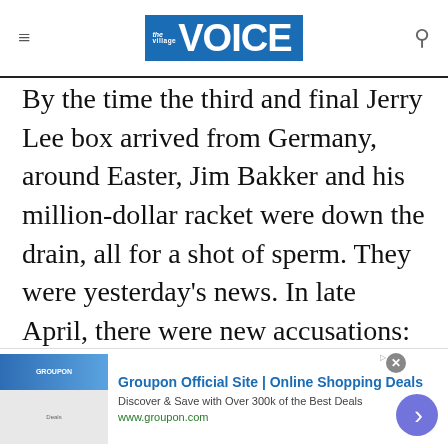the village VOICE
By the time the third and final Jerry Lee box arrived from Germany, around Easter, Jim Bakker and his million-dollar racket were down the drain, all for a shot of sperm. They were yesterday's news. In late April, there were new accusations: Reverend Bakker had sung his Song of Songs not only to Jessica but to sundry whores as well, and he had — with or without makeup, it is not clear — lain with his fellow man, contra naturam, a cocksucker for Christ. Here in
[Figure (screenshot): Groupon advertisement banner: 'Groupon Official Site | Online Shopping Deals — Discover & Save with Over 300k of the Best Deals — www.groupon.com' with close button and navigation arrow]